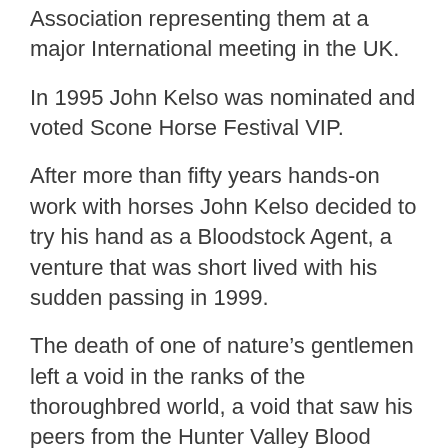Association representing them at a major International meeting in the UK.
In 1995 John Kelso was nominated and voted Scone Horse Festival VIP.
After more than fifty years hands-on work with horses John Kelso decided to try his hand as a Bloodstock Agent, a venture that was short lived with his sudden passing in 1999.
The death of one of nature’s gentlemen left a void in the ranks of the thoroughbred world, a void that saw his peers from the Hunter Valley Blood Horse Breeders honouring him with a posthumous award for his contribution to breeding and the racing industry.